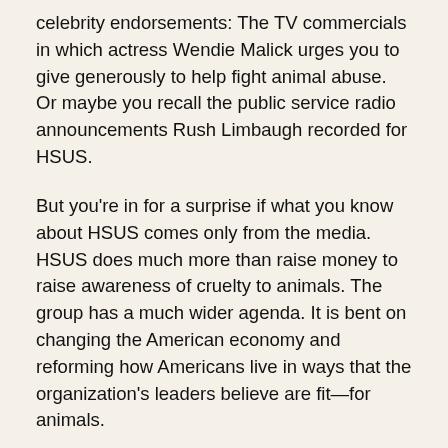celebrity endorsements: The TV commercials in which actress Wendie Malick urges you to give generously to help fight animal abuse. Or maybe you recall the public service radio announcements Rush Limbaugh recorded for HSUS.
But you're in for a surprise if what you know about HSUS comes only from the media. HSUS does much more than raise money to raise awareness of cruelty to animals. The group has a much wider agenda. It is bent on changing the American economy and reforming how Americans live in ways that the organization's leaders believe are fit—for animals.
The authoritative survey Animal Rights: The Inhumane Crusade (Capital Research Center, 1999) documents how the Humane Society has changed its mission from preventing animal cruelty to protesting medical